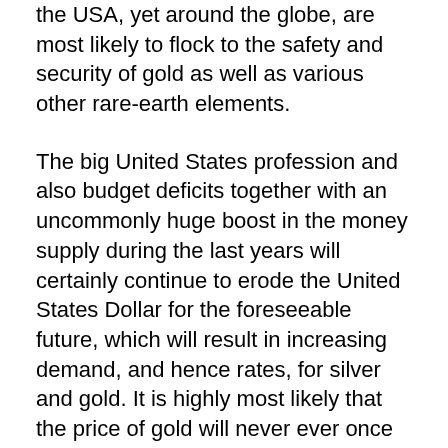the USA, yet around the globe, are most likely to flock to the safety and security of gold as well as various other rare-earth elements.
The big United States profession and also budget deficits together with an uncommonly huge boost in the money supply during the last years will certainly continue to erode the United States Dollar for the foreseeable future, which will result in increasing demand, and hence rates, for silver and gold. It is highly most likely that the price of gold will never ever once more be as reduced as it is today. Unlike paper currency and also other assets, gold has a history of holding its value, and also also rising, during economic crises.